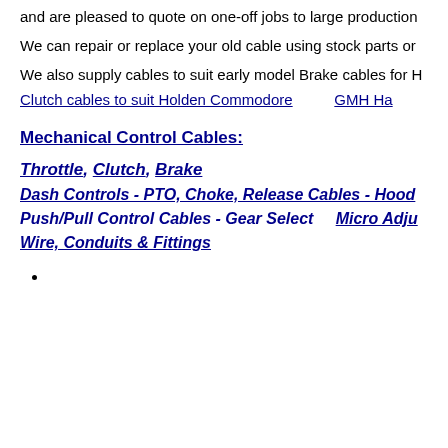and are pleased to quote on one-off jobs to large production
We can repair or replace your old cable using stock parts or
We also supply cables to suit early model Brake cables for H
Clutch cables to suit Holden Commodore    GMH Ha
Mechanical Control Cables:
Throttle, Clutch, Brake
Dash Controls - PTO, Choke, Release Cables - Hood
Push/Pull Control Cables - Gear Select    Micro Adju
Wire, Conduits & Fittings